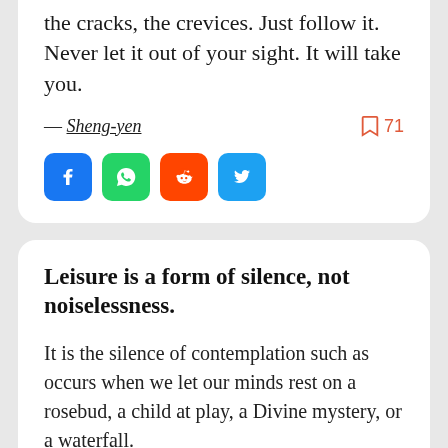the cracks, the crevices. Just follow it. Never let it out of your sight. It will take you.
— Sheng-yen  [bookmark: 71]
[Figure (infographic): Four social share buttons: Facebook (blue), WhatsApp (green), Reddit (orange-red), Twitter (light blue)]
Leisure is a form of silence, not noiselessness.
It is the silence of contemplation such as occurs when we let our minds rest on a rosebud, a child at play, a Divine mystery, or a waterfall.
— Fulton J. Sheen  [bookmark: 68]
[Figure (infographic): Four social share buttons: Facebook (blue), WhatsApp (green), Reddit (orange-red), Twitter (light blue) — partially visible at bottom]